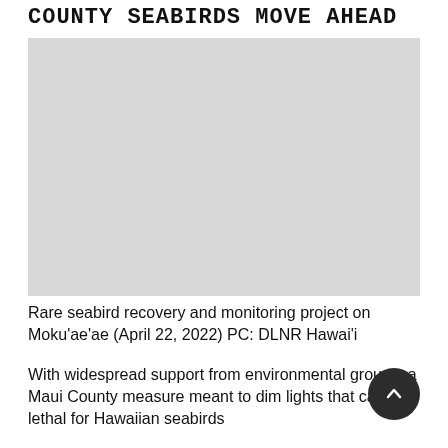COUNTY SEABIRDS MOVE AHEAD
[Figure (photo): Rare seabird recovery and monitoring project on Mokuʻaeʻae (April 22, 2022), photograph area shown as light gray placeholder]
Rare seabird recovery and monitoring project on Mokuʻaeʻae (April 22, 2022) PC: DLNR Hawaiʻi
With widespread support from environmental groups, a Maui County measure meant to dim lights that can be lethal for Hawaiian seabirds